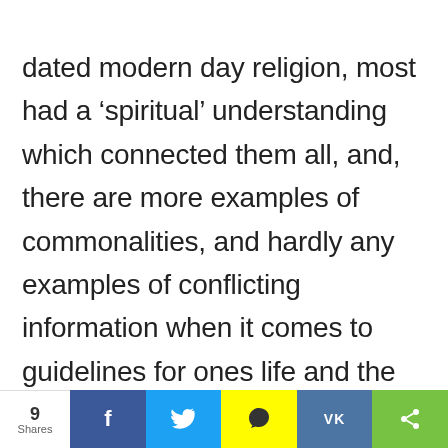dated modern day religion, most had a 'spiritual' understanding which connected them all, and, there are more examples of commonalities, and hardly any examples of conflicting information when it comes to guidelines for ones life and the description of what we call reality
[Figure (photo): Advertisement carousel showing a close-up photo of teeth/mouth on the left, text 'Here...' in the middle, and a house exterior photo on the right, with navigation arrows]
[Figure (infographic): Social media share bar with share count '9 Shares', Facebook (blue), Twitter (light blue), Snapchat (yellow), VK (blue), and share (green) buttons]